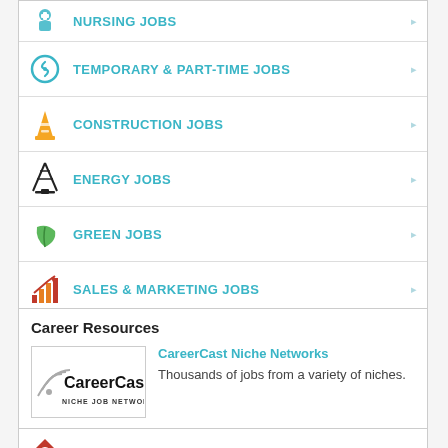NURSING JOBS
TEMPORARY & PART-TIME JOBS
CONSTRUCTION JOBS
ENERGY JOBS
GREEN JOBS
SALES & MARKETING JOBS
RETAIL JOBS
TRUCKING JOBS
HOSPITALITY JOBS
HR & RECRUITER JOBS
Career Resources
CareerCast Niche Networks Thousands of jobs from a variety of niches.